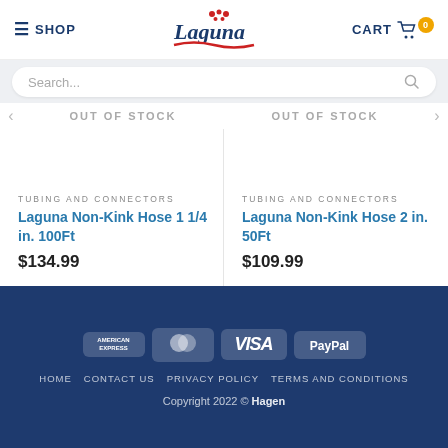SHOP | Laguna | CART 0
Search...
OUT OF STOCK | OUT OF STOCK
TUBING AND CONNECTORS
Laguna Non-Kink Hose 1 1/4 in. 100Ft
$134.99
TUBING AND CONNECTORS
Laguna Non-Kink Hose 2 in. 50Ft
$109.99
American Express | MasterCard | VISA | PayPal
HOME  CONTACT US  PRIVACY POLICY  TERMS AND CONDITIONS
Copyright 2022 © Hagen